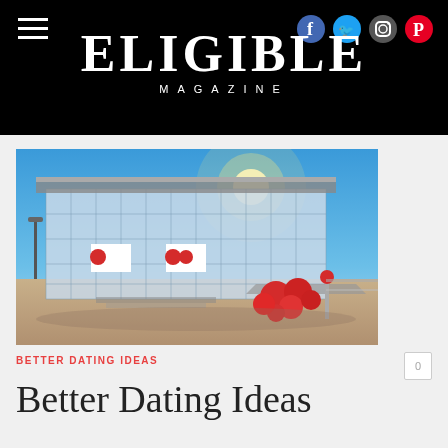ELIGIBLE MAGAZINE
[Figure (photo): Modern glass building exterior with red spherical sculptures in foreground under blue sky with sunlight]
BETTER DATING IDEAS
Better Dating Ideas